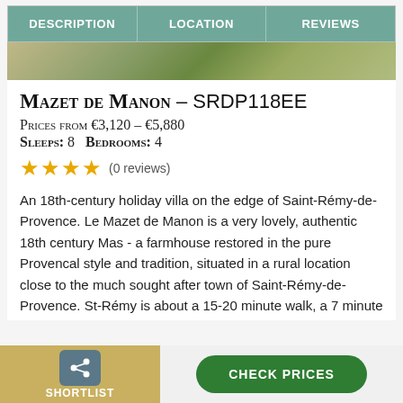DESCRIPTION | LOCATION | REVIEWS
[Figure (photo): Partial outdoor photo of garden/grounds of villa]
Mazet de Manon - SRDP118EE
Prices from €3,120 - €5,880
Sleeps: 8   Bedrooms: 4
★★★★ (0 reviews)
An 18th-century holiday villa on the edge of Saint-Rémy-de-Provence. Le Mazet de Manon is a very lovely, authentic 18th century Mas - a farmhouse restored in the pure Provencal style and tradition, situated in a rural location close to the much sought after town of Saint-Rémy-de-Provence. St-Rémy is about a 15-20 minute walk, a 7 minute
SHORTLIST | CHECK PRICES